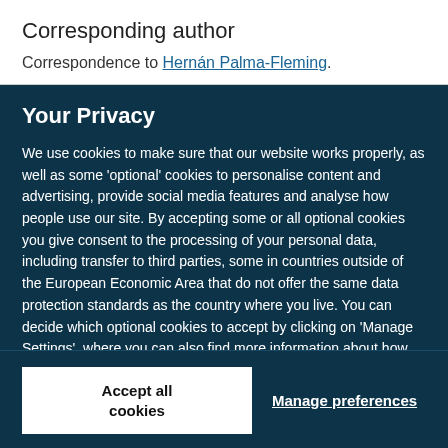Corresponding author
Correspondence to Hernán Palma-Fleming.
Your Privacy
We use cookies to make sure that our website works properly, as well as some 'optional' cookies to personalise content and advertising, provide social media features and analyse how people use our site. By accepting some or all optional cookies you give consent to the processing of your personal data, including transfer to third parties, some in countries outside of the European Economic Area that do not offer the same data protection standards as the country where you live. You can decide which optional cookies to accept by clicking on 'Manage Settings', where you can also find more information about how your personal data is processed. Further information can be found in our privacy policy.
Accept all cookies
Manage preferences